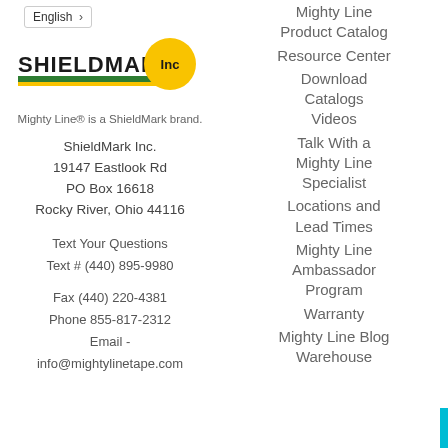English >
[Figure (logo): ShieldMark Inc logo with green stripe and yellow circle]
Mighty Line® is a ShieldMark brand.
ShieldMark Inc.
19147 Eastlook Rd
PO Box 16618
Rocky River, Ohio 44116
Text Your Questions
Text # (440) 895-9980
Fax (440) 220-4381
Phone 855-817-2312
Email -
info@mightylinetape.com
Mighty Line
Product Catalog
Resource Center
Download Catalogs
Videos
Talk With a Mighty Line Specialist
Locations and Lead Times
Mighty Line Ambassador Program
Warranty
Mighty Line Blog
Warehouse
Chat with us